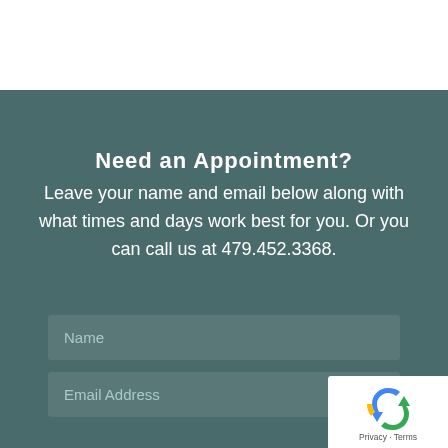Need an Appointment?
Leave your name and email below along with what times and days work best for you. Or you can call us at 479.452.3368.
[Figure (screenshot): A web form with two input fields: Name and Email Address, on a dark teal background. A reCAPTCHA badge appears in the bottom right corner.]